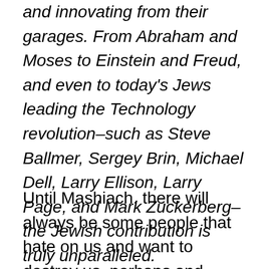and innovating from their garages. From Abraham and Moses to Einstein and Freud, and even to today's Jews leading the Technology revolution–such as Steve Ballmer, Sergey Brin, Michael Dell, Larry Ellison, Larry Page, and Mark Zuckerberg–the Jewish contribution is truly unparalleled.
Until Mashiach, there will always be some people that hate on us and want to destroy us–perhaps and